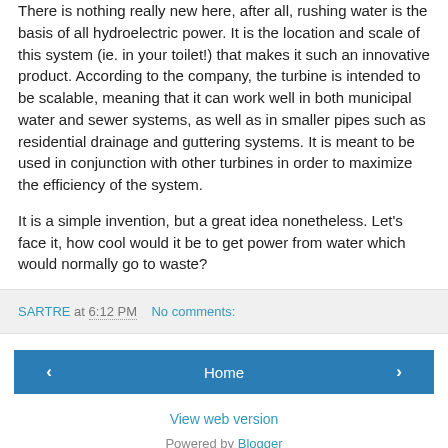There is nothing really new here, after all, rushing water is the basis of all hydroelectric power. It is the location and scale of this system (ie. in your toilet!) that makes it such an innovative product. According to the company, the turbine is intended to be scalable, meaning that it can work well in both municipal water and sewer systems, as well as in smaller pipes such as residential drainage and guttering systems. It is meant to be used in conjunction with other turbines in order to maximize the efficiency of the system.
It is a simple invention, but a great idea nonetheless. Let’s face it, how cool would it be to get power from water which would normally go to waste?
SARTRE at 6:12 PM   No comments:
‹   Home   ›
View web version
Powered by Blogger